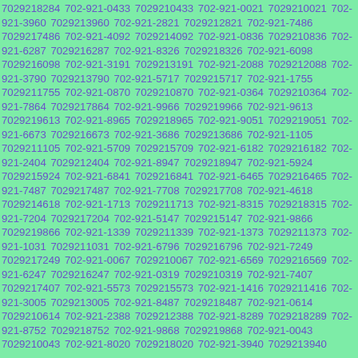7029218284 702-921-0433 7029210433 702-921-0021 7029210021 702-921-3960 7029213960 702-921-2821 7029212821 702-921-7486 7029217486 702-921-4092 7029214092 702-921-0836 7029210836 702-921-6287 7029216287 702-921-8326 7029218326 702-921-6098 7029216098 702-921-3191 7029213191 702-921-2088 7029212088 702-921-3790 7029213790 702-921-5717 7029215717 702-921-1755 7029211755 702-921-0870 7029210870 702-921-0364 7029210364 702-921-7864 7029217864 702-921-9966 7029219966 702-921-9613 7029219613 702-921-8965 7029218965 702-921-9051 7029219051 702-921-6673 7029216673 702-921-3686 7029213686 702-921-1105 7029211105 702-921-5709 7029215709 702-921-6182 7029216182 702-921-2404 7029212404 702-921-8947 7029218947 702-921-5924 7029215924 702-921-6841 7029216841 702-921-6465 7029216465 702-921-7487 7029217487 702-921-7708 7029217708 702-921-4618 7029214618 702-921-1713 7029211713 702-921-8315 7029218315 702-921-7204 7029217204 702-921-5147 7029215147 702-921-9866 7029219866 702-921-1339 7029211339 702-921-1373 7029211373 702-921-1031 7029211031 702-921-6796 7029216796 702-921-7249 7029217249 702-921-0067 7029210067 702-921-6569 7029216569 702-921-6247 7029216247 702-921-0319 7029210319 702-921-7407 7029217407 702-921-5573 7029215573 702-921-1416 7029211416 702-921-3005 7029213005 702-921-8487 7029218487 702-921-0614 7029210614 702-921-2388 7029212388 702-921-8289 7029218289 702-921-8752 7029218752 702-921-9868 7029219868 702-921-0043 7029210043 702-921-8020 7029218020 702-921-3940 7029213940